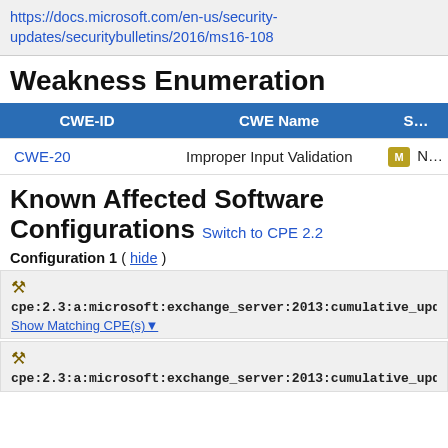https://docs.microsoft.com/en-us/security-updates/securitybulletins/2016/ms16-108
Weakness Enumeration
| CWE-ID | CWE Name | S... |
| --- | --- | --- |
| CWE-20 | Improper Input Validation | [icon] N... |
Known Affected Software Configurations Switch to CPE 2.2
Configuration 1 ( hide )
cpe:2.3:a:microsoft:exchange_server:2013:cumulative_updat...
Show Matching CPE(s)
cpe:2.3:a:microsoft:exchange_server:2013:cumulative_updat...